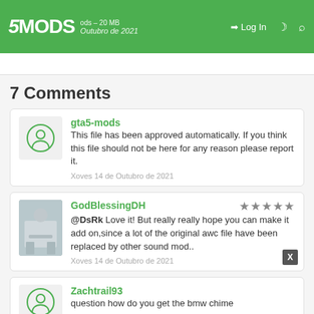5MODS — Log In
7 Comments
gta5-mods
This file has been approved automatically. If you think this file should not be here for any reason please report it.
Xoves 14 de Outubro de 2021
GodBlessingDH ★★★★★
@DsRk Love it! But really really hope you can make it add on,since a lot of the original awc file have been replaced by other sound mod..
Xoves 14 de Outubro de 2021
Zachtrail93
question how do you get the bmw chime